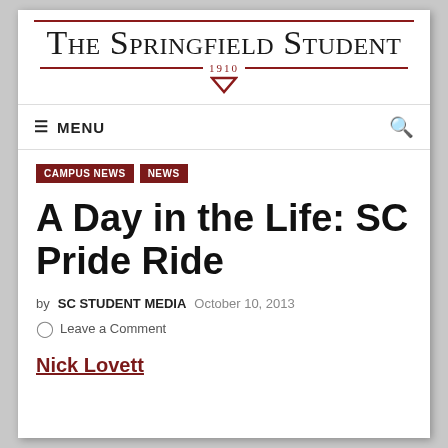The Springfield Student 1910
≡ MENU
CAMPUS NEWS  NEWS
A Day in the Life: SC Pride Ride
by SC STUDENT MEDIA   October 10, 2013
Leave a Comment
Nick Lovett